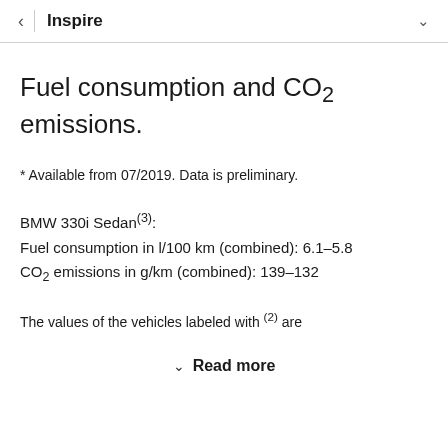< | Inspire ∨
Fuel consumption and CO2 emissions.
* Available from 07/2019. Data is preliminary.
BMW 330i Sedan(3):
Fuel consumption in l/100 km (combined): 6.1–5.8
CO2 emissions in g/km (combined): 139–132
The values of the vehicles labeled with (2) are
∨ Read more